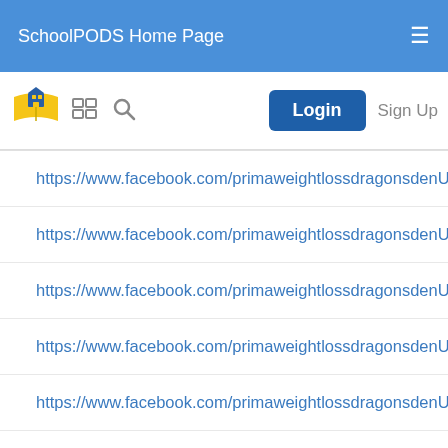SchoolPODS Home Page
[Figure (logo): SchoolPODS logo - yellow open book with blue building icon]
https://www.facebook.com/primaweightlossdragonsdenUnitedKing
https://www.facebook.com/primaweightlossdragonsdenUnitedKing
https://www.facebook.com/primaweightlossdragonsdenUnitedKing
https://www.facebook.com/primaweightlossdragonsdenUnitedKing
https://www.facebook.com/primaweightlossdragonsdenUnitedKing
https://www.facebook.com/primaweightlossdragonsdenUnitedKing